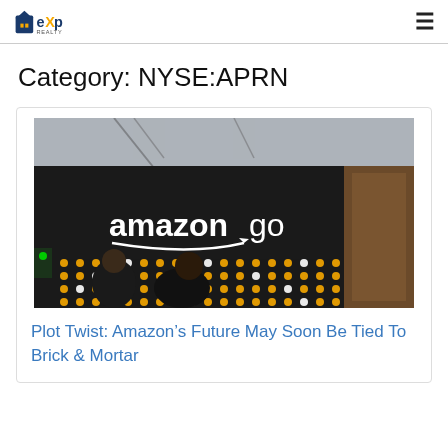eXp Realty
Category: NYSE:APRN
[Figure (photo): Amazon Go store exterior with illuminated dot-matrix display and two people walking in front]
Plot Twist: Amazon's Future May Soon Be Tied To Brick & Mortar